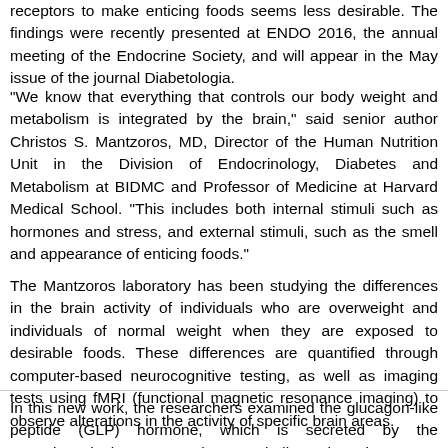receptors to make enticing foods seems less desirable. The findings were recently presented at ENDO 2016, the annual meeting of the Endocrine Society, and will appear in the May issue of the journal Diabetologia.
"We know that everything that controls our body weight and metabolism is integrated by the brain," said senior author Christos S. Mantzoros, MD, Director of the Human Nutrition Unit in the Division of Endocrinology, Diabetes and Metabolism at BIDMC and Professor of Medicine at Harvard Medical School. "This includes both internal stimuli such as hormones and stress, and external stimuli, such as the smell and appearance of enticing foods."
The Mantzoros laboratory has been studying the differences in the brain activity of individuals who are overweight and individuals of normal weight when they are exposed to desirable foods. These differences are quantified through computer-based neurocognitive testing, as well as imaging tests using fMRI (functional magnetic resonance imaging) to observe alterations in the activity of specific brain areas.
In this new work, the researchers examined the glucagon-like peptide (GLP) hormone, which is secreted by the gastrointestinal tract to regulate metabolism. They also